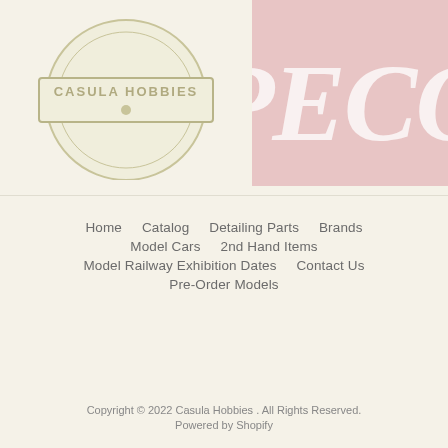[Figure (logo): Casula Hobbies logo - circular yellow badge with rectangular border and text CASULA HOBBIES]
[Figure (logo): PECO logo - pink/rose colored square background with large white italic text PECO]
Home    Catalog    Detailing Parts    Brands
Model Cars    2nd Hand Items
Model Railway Exhibition Dates    Contact Us
Pre-Order Models
Copyright © 2022 Casula Hobbies . All Rights Reserved.
Powered by Shopify